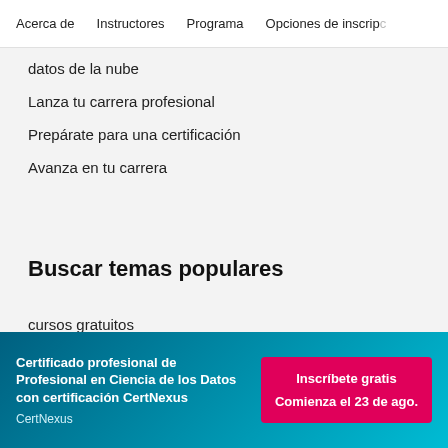Acerca de   Instructores   Programa   Opciones de inscrip...
datos de la nube
Lanza tu carrera profesional
Prepárate para una certificación
Avanza en tu carrera
Buscar temas populares
cursos gratuitos
Certificado profesional de Profesional en Ciencia de los Datos con certificación CertNexus
CertNexus
Inscríbete gratis
Comienza el 23 de ago.